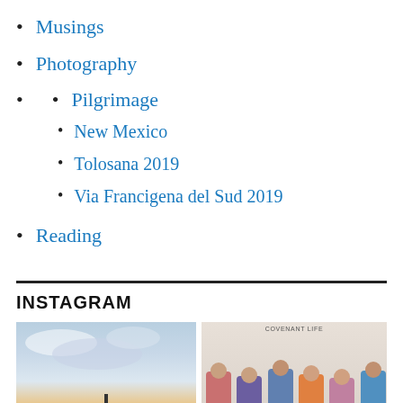Musings
Photography
Pilgrimage
New Mexico
Tolosana 2019
Via Francigena del Sud 2019
Reading
INSTAGRAM
[Figure (photo): Sky photo with clouds and a pole/structure at the bottom center]
[Figure (photo): Group photo of six people standing in front of a wall with text 'COVENANT LIFE']